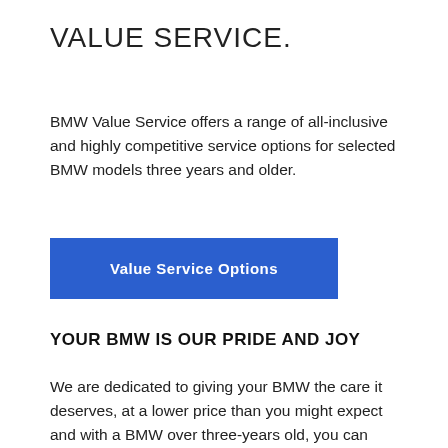VALUE SERVICE.
BMW Value Service offers a range of all-inclusive and highly competitive service options for selected BMW models three years and older.
[Figure (other): Blue button labeled 'Value Service Options']
YOUR BMW IS OUR PRIDE AND JOY
We are dedicated to giving your BMW the care it deserves, at a lower price than you might expect and with a BMW over three-years old, you can benefit from a minimum of 20% off the parts required as part of your oil, microfilter or break pad or disk (front and rear) service. BMW Value Service offers a personalised service price based on the age of your vehicle. All work is carried